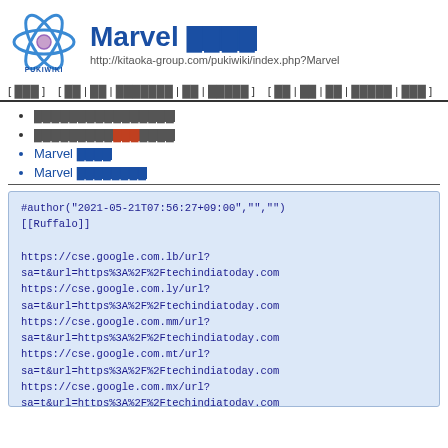[Figure (logo): PukiWiki logo: blue atomic-orbit icon with PUKIWIKI text below, used as site logo]
Marvel ████
http://kitaoka-group.com/pukiwiki/index.php?Marvel
[ ███ ]  [ ██ | ██ | ███████ | ██ | █████ ]  [ ██ | ██ | ██ | █████ | ███ ]
████████████████
█████████████████
Marvel ████
Marvel ████████
#author("2021-05-21T07:56:27+09:00","","")
[[Ruffalo]]

https://cse.google.com.lb/url?
sa=t&url=https%3A%2F%2Ftechindiatoday.com
https://cse.google.com.ly/url?
sa=t&url=https%3A%2F%2Ftechindiatoday.com
https://cse.google.com.mm/url?
sa=t&url=https%3A%2F%2Ftechindiatoday.com
https://cse.google.com.mt/url?
sa=t&url=https%3A%2F%2Ftechindiatoday.com
https://cse.google.com.mx/url?
sa=t&url=https%3A%2F%2Ftechindiatoday.com
https://cse.google.com.my/url?
sa=t&url=https%3A%2F%2Ftechindiatoday.com